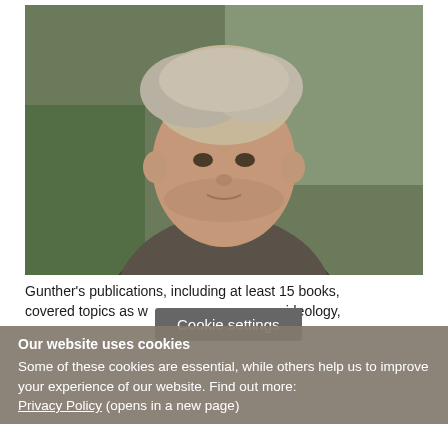[Figure (photo): Portrait photo of an elderly man with grey hair, wearing a dark sweater and grey jacket, photographed outdoors with blurred greenery in background]
Gunther's publications, including at least 15 books, covered topics as w[...] wer, ideology,
Cookie settings
Our website uses cookies
Some of these cookies are essential, while others help us to improve your experience of our website. Find out more: Privacy Policy (opens in a new page)